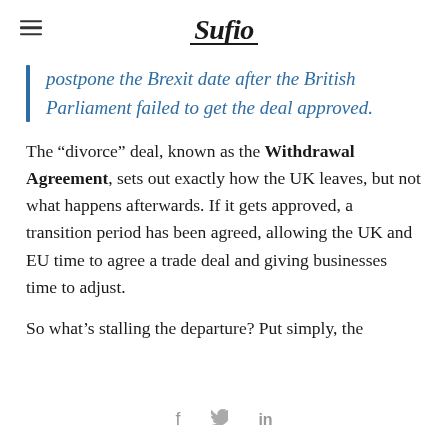Sufio
postpone the Brexit date after the British Parliament failed to get the deal approved.
The “divorce” deal, known as the Withdrawal Agreement, sets out exactly how the UK leaves, but not what happens afterwards. If it gets approved, a transition period has been agreed, allowing the UK and EU time to agree a trade deal and giving businesses time to adjust.
So what’s stalling the departure? Put simply, the
f  🐦  in